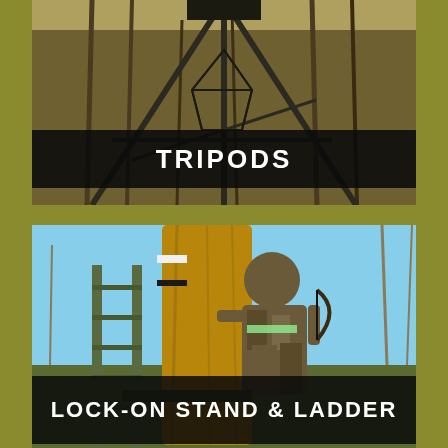[Figure (photo): Overhead view of a metal tripod hunting stand structure with trees in the background]
TRIPODS
[Figure (photo): Hunter in camouflage clothing standing on a lock-on tree stand with ladder, holding a bow, with a large tree trunk visible]
LOCK-ON STAND & LADDER